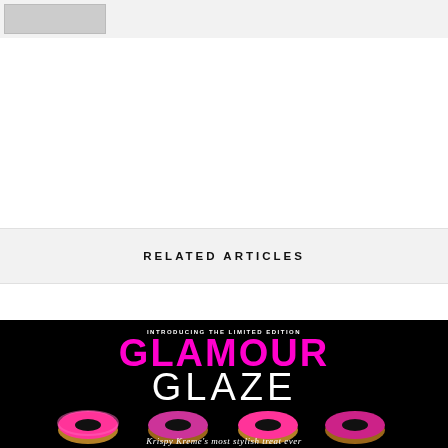[Figure (photo): Top bar with partial image thumbnail visible at top left]
RELATED ARTICLES
[Figure (illustration): Krispy Kreme Glamour Glaze limited edition advertisement on black background showing four pink glazed donuts with text 'INTRODUCING THE LIMITED EDITION GLAMOUR GLAZE' and cursive text 'Krispy Kreme's most stylish treat ever']